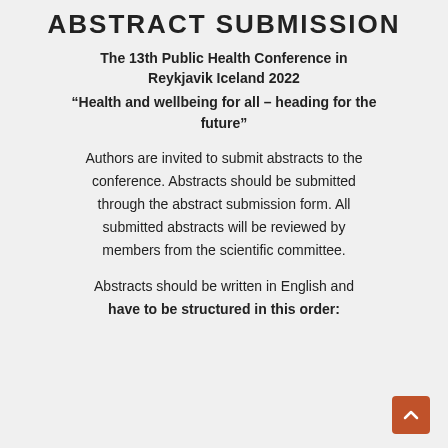ABSTRACT SUBMISSION
The 13th Public Health Conference in Reykjavik Iceland 2022
“Health and wellbeing for all – heading for the future”
Authors are invited to submit abstracts to the conference. Abstracts should be submitted through the abstract submission form. All submitted abstracts will be reviewed by members from the scientific committee.
Abstracts should be written in English and have to be structured in this order: